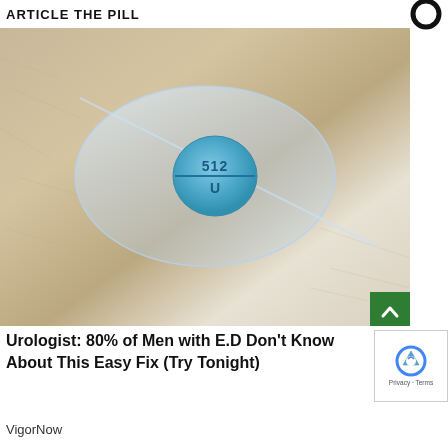ARTICLE THE PILL
[Figure (photo): A blue round pill with '512' imprinted on top and 'U' on bottom, scored in half, in a clear plastic blister pack, resting on a furry or textured beige surface.]
Urologist: 80% of Men with E.D Don't Know About This Easy Fix (Try Tonight)
VigorNow